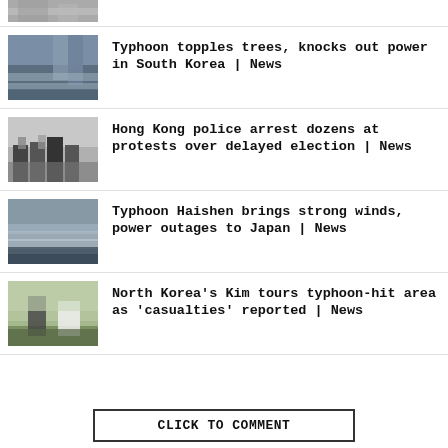[Figure (photo): Partial news thumbnail at top (cropped, showing people)]
[Figure (photo): Typhoon waves crashing near coastal buildings in South Korea]
Typhoon topples trees, knocks out power in South Korea | News
[Figure (photo): Hong Kong police in riot gear arresting protesters]
Hong Kong police arrest dozens at protests over delayed election | News
[Figure (photo): Typhoon Haishen storm waves near Japan]
Typhoon Haishen brings strong winds, power outages to Japan | News
[Figure (photo): North Korea's Kim Jong Un touring typhoon-hit area]
North Korea's Kim tours typhoon-hit area as 'casualties' reported | News
CLICK TO COMMENT